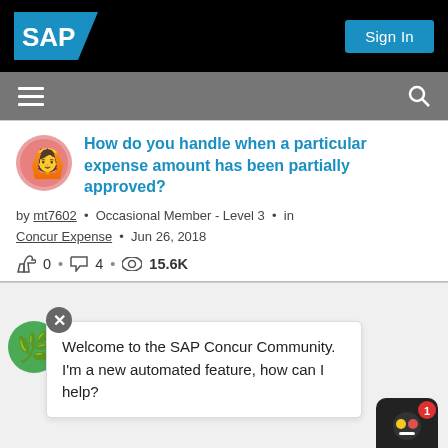SAP | Sign In
How do you handle when a particular expense amount has been partially approved?
by mt7602 • Occasional Member - Level 3 • in Concur Expense • Jun 26, 2018
0 • 4 • 15.6K
Welcome to the SAP Concur Community. I'm a new automated feature, how can I help?
Concur Expense • Dec 9, 2018